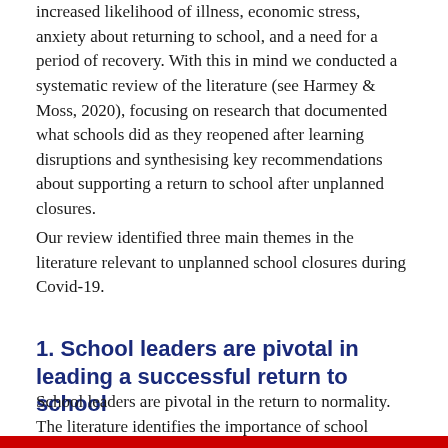increased likelihood of illness, economic stress, anxiety about returning to school, and a need for a period of recovery. With this in mind we conducted a systematic review of the literature (see Harmey & Moss, 2020), focusing on research that documented what schools did as they reopened after learning disruptions and synthesising key recommendations about supporting a return to school after unplanned closures.
Our review identified three main themes in the literature relevant to unplanned school closures during Covid-19.
1. School leaders are pivotal in leading a successful return to school
School leaders are pivotal in the return to normality. The literature identifies the importance of school leaders' local knowledge – they understand the effect of Covid-19 on the